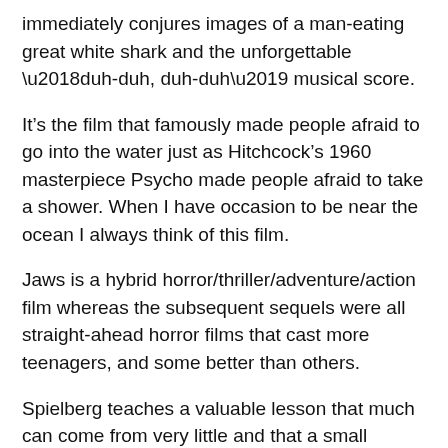immediately conjures images of a man-eating great white shark and the unforgettable ‘duh-duh, duh-duh’ musical score.
It’s the film that famously made people afraid to go into the water just as Hitchcock’s 1960 masterpiece Psycho made people afraid to take a shower. When I have occasion to be near the ocean I always think of this film.
Jaws is a hybrid horror/thriller/adventure/action film whereas the subsequent sequels were all straight-ahead horror films that cast more teenagers, and some better than others.
Spielberg teaches a valuable lesson that much can come from very little and that a small budget can create greatness. What he accomplishes with Jaws is admirable, to say the least.
With Jaws, the story is more about the attempts of three men to destroy a killer shark and their relationship with the shark itself. The scary aspect, always terrific in horror, is we do not